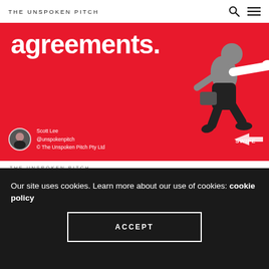THE UNSPOKEN PITCH
[Figure (illustration): Red banner with bold white text 'agreements.' and an illustrated figure of a person running/leaping in black and grey on a red background. Bottom left shows a circular avatar photo of Scott Lee with text 'Scott Lee @unspokenpitch © The Unspoken Pitch Pty Ltd'. Bottom right shows a SWIPE arrow label.]
Scott Lee @unspokenpitch © The Unspoken Pitch Pty Ltd
THE UNSPOKEN PITCH
What can you do to arrive at a win/win
Our site uses cookies. Learn more about our use of cookies: cookie policy
ACCEPT